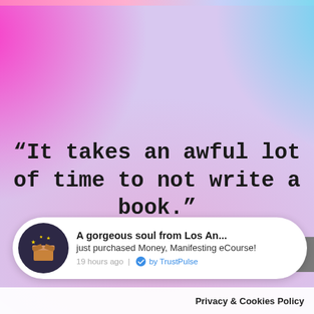[Figure (illustration): Colorful watercolor-style background with magenta/pink on left and cyan/teal on right, pastel lavender in center. A thin pink/pastel gradient bar runs across the very top.]
“It takes an awful lot of time to not write a book.”
[Figure (screenshot): TrustPulse notification popup: dark circle icon with open gift box illustration and gold stars; text reads 'A gorgeous soul from Los An... just purchased Money, Manifesting eCourse! 19 hours ago | by TrustPulse' with TrustPulse checkmark logo.]
Privacy & Cookies Policy